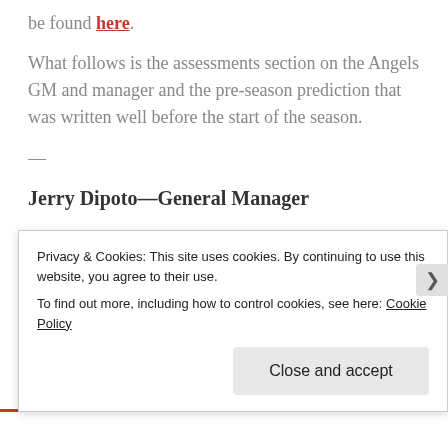be found here.
What follows is the assessments section on the Angels GM and manager and the pre-season prediction that was written well before the start of the season.
—
Jerry Dipoto—General Manager
Contract status: Signed through 2014 with club options for 2015 and 2016
Privacy & Cookies: This site uses cookies. By continuing to use this website, you agree to their use.
To find out more, including how to control cookies, see here: Cookie Policy
Close and accept